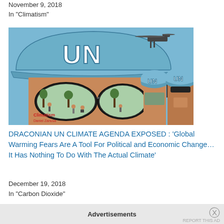November 9, 2018
In "Climatism"
[Figure (illustration): Cartoon illustration of UN soldiers wearing blue UN helmets. A close-up face with sunglasses reflects scenes of people planting trees. Two other UN soldiers stand to the right, one holding a radio. A helicopter is visible in the upper right corner. 'Climatism' and 'Daniel Zanusa' text visible in lower left.]
DRACONIAN UN CLIMATE AGENDA EXPOSED : ‘Global Warming Fears Are A Tool For Political and Economic Change…It Has Nothing To Do With The Actual Climate’
December 19, 2018
In "Carbon Dioxide"
Advertisements